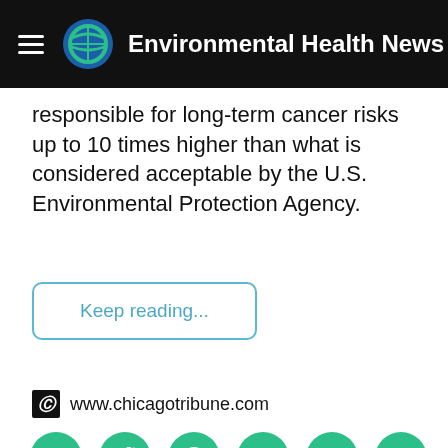Environmental Health News
responsible for long-term cancer risks up to 10 times higher than what is considered acceptable by the U.S. Environmental Protection Agency.
Keep reading...
www.chicagotribune.com
[Figure (infographic): Row of six green circular social media share buttons: Facebook, Twitter, Pinterest, Email, Reddit, SMS]
[Figure (photo): Flames photo at bottom of page, dark background with orange and yellow fire]